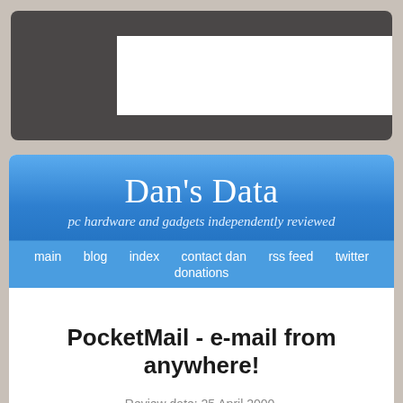[Figure (screenshot): Dark grey rounded rectangle banner at top of page with a white rectangular inset box on the right side, representing a website header graphic or advertisement placeholder]
Dan's Data
pc hardware and gadgets independently reviewed
main   blog   index   contact dan   rss feed   twitter   donations
PocketMail - e-mail from anywhere!
Review date: 25 April 2000.
Last modified 03-Dec-2011.